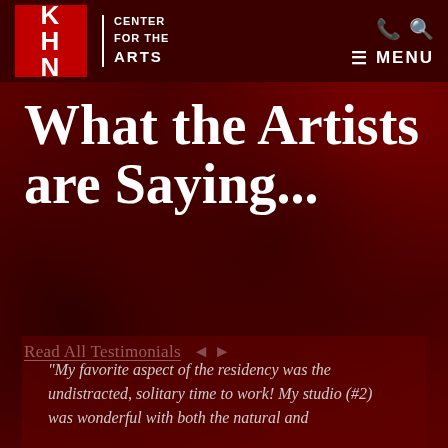[Figure (logo): KHN Center for the Arts logo with red box containing KHN letters and text 'CENTER FOR THE ARTS']
☰ MENU
What the Artists are Saying...
Read All Testimonials ◄ ►
"My favorite aspect of the residency was the undistracted, solitary time to work! My studio (#2) was wonderful with both the natural and